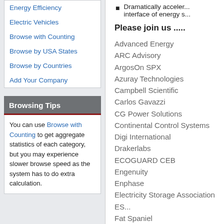Energy Efficiency
Electric Vehicles
Browse with Counting
Browse by USA States
Browse by Countries
Add Your Company
Browsing Tips
You can use Browse with Counting to get aggregate statistics of each category, but you may experience slower browse speed as the system has to do extra calculation.
Dramatically acceler... interface of energy s...
Please join us .....
Advanced Energy
ARC Advisory
ArgosOn SPX
Azuray Technologies
Campbell Scientific
Carlos Gavazzi
CG Power Solutions
Continental Control Systems
Digi International
Drakerlabs
ECOGUARD CEB
Engenuity
Enphase
Electricity Storage Association ES...
Fat Spaniel
Fronius
General Electric Appliances
Ingeteam
Lockheed Martin
McCalmont Engineering